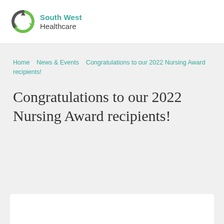South West Healthcare
Home   News & Events   Congratulations to our 2022 Nursing Award recipients!
Congratulations to our 2022 Nursing Award recipients!